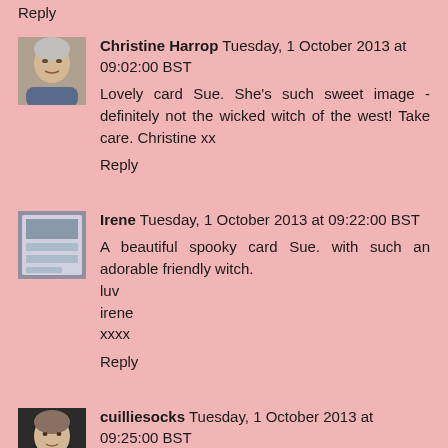Reply
[Figure (photo): Avatar photo of Christine Harrop, a woman with short gray hair]
Christine Harrop  Tuesday, 1 October 2013 at 09:02:00 BST
Lovely card Sue. She's such sweet image - definitely not the wicked witch of the west! Take care. Christine xx
Reply
[Figure (photo): Avatar thumbnail image, appears to be a small decorative card image]
Irene  Tuesday, 1 October 2013 at 09:22:00 BST
A beautiful spooky card Sue. with such an adorable friendly witch.
luv
irene
xxxx
Reply
[Figure (photo): Avatar photo of cuilliesocks, a woman]
cuilliesocks  Tuesday, 1 October 2013 at 09:25:00 BST
Aw she is so sweet, not a nasty witch that's for sure. Lovely